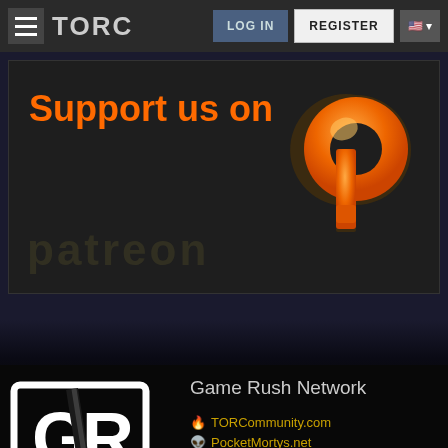TORC — LOG IN | REGISTER
[Figure (logo): Support us on Patreon banner with orange Patreon logo on dark background]
Game Rush Network
[Figure (logo): Game Rush Network GR logo — white stylized GR letters on dark background]
TORCommunity.com
PocketMortys.net
Fire Emblem Heroes
Fire Emblem Warriors
Hyrule Warriors: Age of Calamity